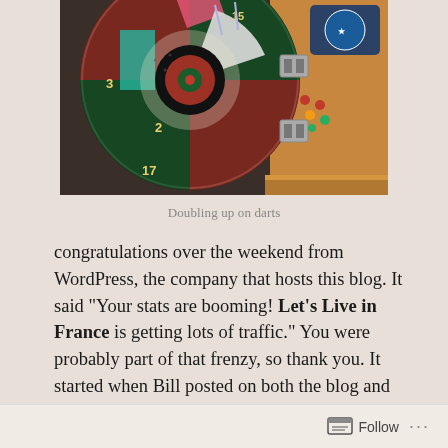[Figure (photo): Close-up photograph of an electronic dartboard mounted on a wooden panel, showing numbered sections including 2, 15, 17, 3, with colorful segments and metal hinges visible]
Doubling up on darts
congratulations over the weekend from WordPress, the company that hosts this blog. It said “Your stats are booming! Let’s Live in France is getting lots of traffic.” You were probably part of that frenzy, so thank you. It started when Bill posted on both the blog and Facebook that we were clearing out the basement with lots of things going to charity or the dumpster if they weren’t otherwise claimed. The response was overwhelming, so now there’s much less to give/throw away, but there’s
Follow